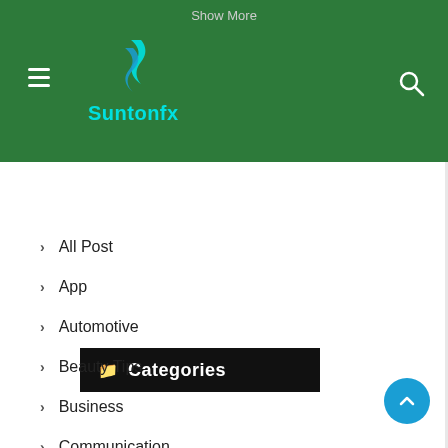Suntonfx — Show More
Categories
All Post
App
Automotive
Beauty Tips
Business
Communication
Digital Marketing
Education
Entertainment
Exercise